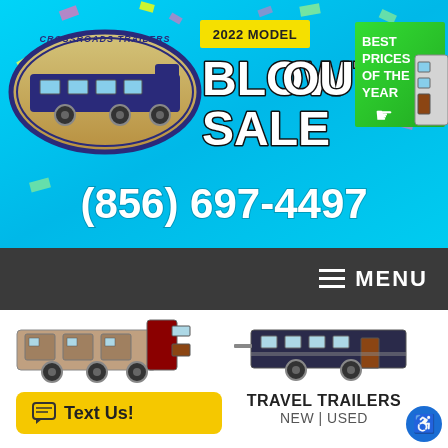[Figure (screenshot): Crossroads Trailers 2022 Model Blowout Sale banner with cyan/blue background, logo, sale text, 'Best Prices of the Year' green box, phone number (856) 697-4497]
☰ MENU
[Figure (photo): Fifth wheel RV trailer product image top left]
Text Us!
[Figure (photo): Travel trailer RV product image top right]
TRAVEL TRAILERS NEW | USED